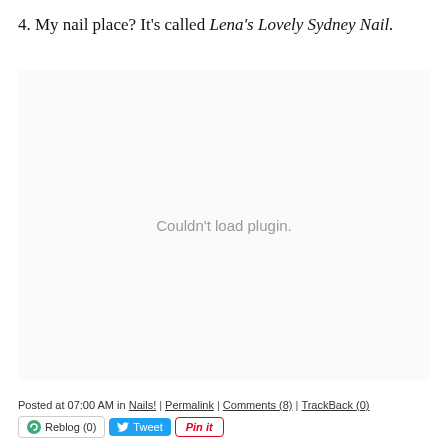4. My nail place? It's called Lena's Lovely Sydney Nail.
[Figure (other): Embedded plugin area showing 'Couldn't load plugin.' message]
Posted at 07:00 AM in Nails! | Permalink | Comments (8) | TrackBack (0) [Reblog (0)] [Tweet] [Pin it]